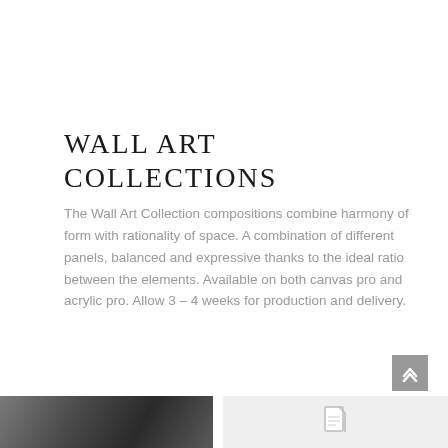WALL ART COLLECTIONS
The Wall Art Collection compositions combine harmony of form with rationality of space. A combination of different panels, balanced and expressive thanks to the ideal ratio between the elements. Available on both canvas pro and acrylic pro. Allow 3 – 4 weeks for production and delivery.
[Figure (photo): Dark landscape or art photo thumbnail at bottom left of page]
[Figure (other): Document icon thumbnail at bottom right of page]